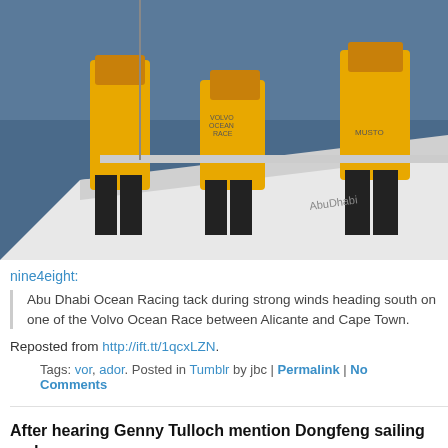[Figure (photo): Crew members of Abu Dhabi Ocean Racing team in yellow jackets working on deck of a sailing boat during strong winds]
nine4eight:
Abu Dhabi Ocean Racing tack during strong winds heading south on one of the Volvo Ocean Race between Alicante and Cape Town.
Reposted from http://ift.tt/1qcxLZN.
Tags: vor, ador. Posted in Tumblr by jbc | Permalink | No Comments
After hearing Genny Tulloch mention Dongfeng sailing and...
Friday, October 31st, 2014